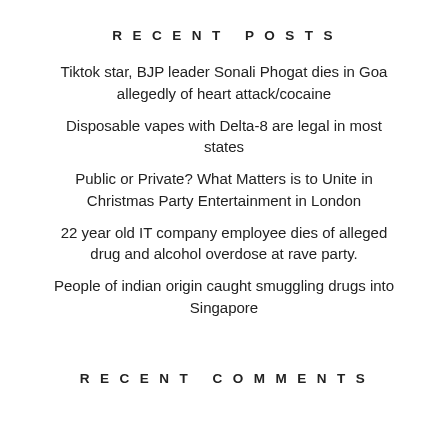RECENT POSTS
Tiktok star, BJP leader Sonali Phogat dies in Goa allegedly of heart attack/cocaine
Disposable vapes with Delta-8 are legal in most states
Public or Private? What Matters is to Unite in Christmas Party Entertainment in London
22 year old IT company employee dies of alleged drug and alcohol overdose at rave party.
People of indian origin caught smuggling drugs into Singapore
RECENT COMMENTS